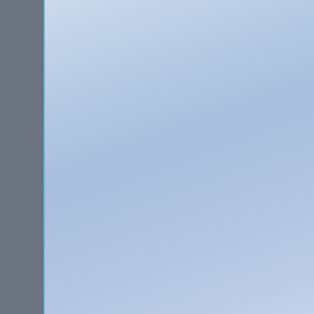[Figure (illustration): Light blue gradient panel on the left side of the page, serving as a decorative column with teal border]
Addiction Treatment P...
Specialty Progra...
Adolescents
Women
415 West...
Renaiss...
Sub...
Additional Services O...
Addiction Treatment P...
Specialty Progra...
Dui/Dwi Offende...
1508 North Arling...